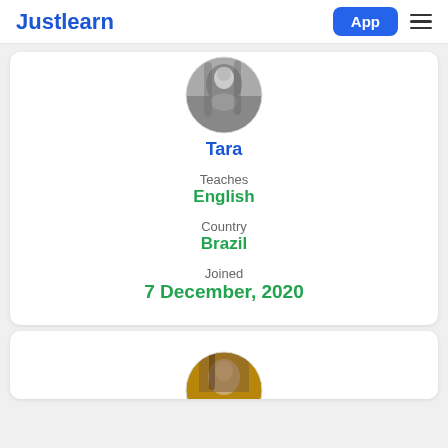Justlearn App ☰
[Figure (photo): Circular black-and-white profile photo of Tara, a woman with long dark hair]
Tara
Teaches
English
Country
Brazil
Joined
7 December, 2020
[Figure (photo): Circular color profile photo of a second tutor, partially visible at the bottom of the page]